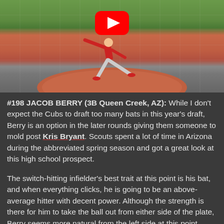[Figure (screenshot): Baseball pitcher on mound with YouTube play button overlay]
#198 JACOB BERRY (3B Queen Creek, AZ): While I don't expect the Cubs to draft too many bats in this year's draft, Berry is an option in the later rounds giving them someone to mold post Kris Bryant. Scouts spent a lot of time in Arizona during the abbreviated spring season and got a great look at this high school prospect.
The switch-hitting infielder's best trait at this point is his bat, and when everything clicks, he is going to be an above-average hitter with decent power. Although the strength is there for him to take the ball out from either side of the plate, Berry seems more natural from the left side at this point. Scouts know that he shouldn't have